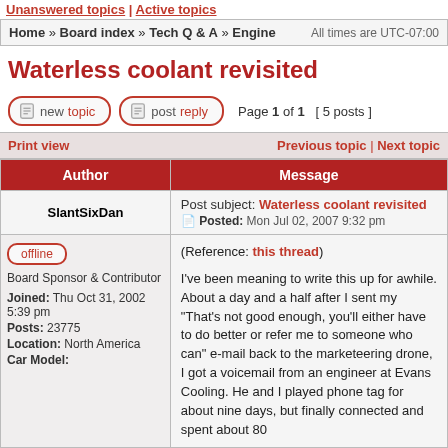Unanswered topics | Active topics
Home » Board index » Tech Q & A » Engine   All times are UTC-07:00
Waterless coolant revisited
new topic   post reply   Page 1 of 1  [ 5 posts ]
| Author | Message |
| --- | --- |
| SlantSixDan | Post subject: Waterless coolant revisited
Posted: Mon Jul 02, 2007 9:32 pm |
| offline
Board Sponsor & Contributor
Joined: Thu Oct 31, 2002 5:39 pm
Posts: 23775
Location: North America
Car Model: | (Reference: this thread)

I've been meaning to write this up for awhile. About a day and a half after I sent my "That's not good enough, you'll either have to do better or refer me to someone who can" e-mail back to the marketeering drone, I got a voicemail from an engineer at Evans Cooling. He and I played phone tag for about nine days, but finally connected and spent about 80 |